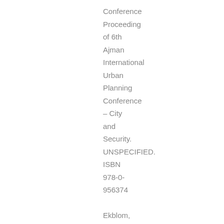Conference Proceeding of 6th Ajman International Urban Planning Conference – City and Security. UNSPECIFIED. ISBN 978-0-956374

Ekblom, Paul, Armitage, Rachel, Monchuk,